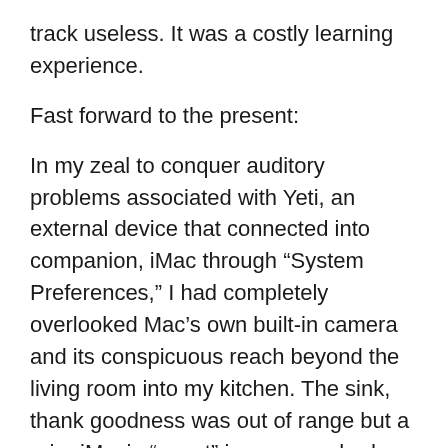track useless. It was a costly learning experience.
Fast forward to the present:
In my zeal to conquer auditory problems associated with Yeti, an external device that connected into companion, iMac through “System Preferences,” I had completely overlooked Mac’s own built-in camera and its conspicuous reach beyond the living room into my kitchen. The sink, thank goodness was out of range but a prior iMovie “event” in progress had been canned after Aiden cat managed to put himself on camera, skittering across Apple’s mini keyboard, producing electronic belch bursts that turned Mozart trills into red-hot zingers.
The poor cat, in shock, was shuttled off to the bedroom, after which calmness prevailed, but for the phone ringing,